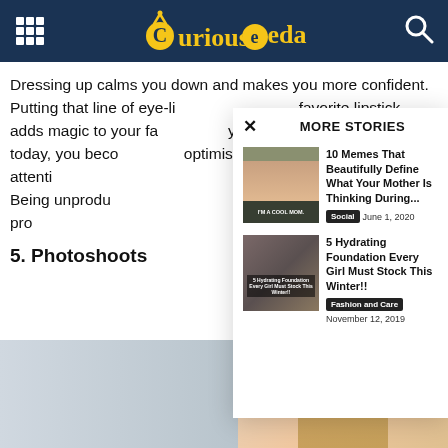CuriousKeeda
Dressing up calms you down and makes you more confident. Putting that line of eye-liner, wearing your favorite lipstick adds magic to your face. When you dress up and look good today, you become more optimistic, you focus more and stay attentive. Being unproductive is a common feeling; once active, your pro…
5. Photoshoots
[Figure (screenshot): More Stories overlay panel with two story cards: '10 Memes That Beautifully Define What Your Mother Is Thinking During...' tagged Social, June 1, 2020; '5 Hydrating Foundation Every Girl Must Stock This Winter!!' tagged Fashion and Care, November 12, 2019]
[Figure (photo): Bottom portion of page showing partial photo of woman smiling and kitchen background]